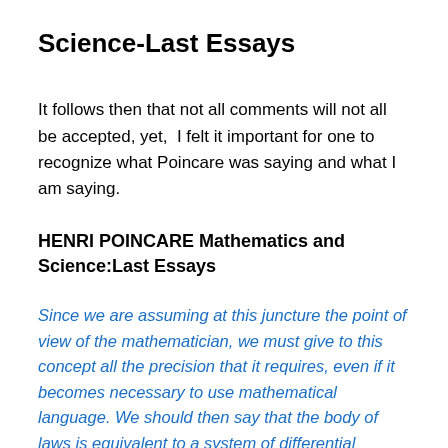Science-Last Essays
It follows then that not all comments will not all be accepted, yet,  I felt it important for one to recognize what Poincare was saying and what I am saying.
HENRI POINCARE Mathematics and Science:Last Essays
Since we are assuming at this juncture the point of view of the mathematician, we must give to this concept all the precision that it requires, even if it becomes necessary to use mathematical language. We should then say that the body of laws is equivalent to a system of differential equations which link the speed of variations of the different